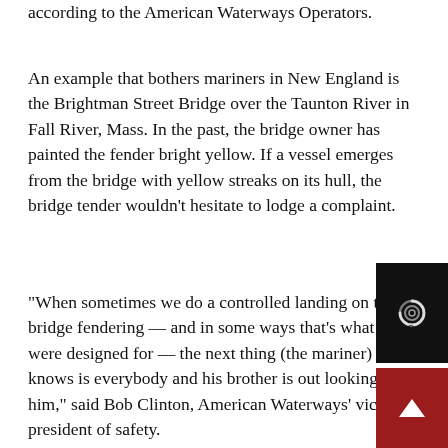according to the American Waterways Operators.
An example that bothers mariners in New England is the Brightman Street Bridge over the Taunton River in Fall River, Mass. In the past, the bridge owner has painted the fender bright yellow. If a vessel emerges from the bridge with yellow streaks on its hull, the bridge tender wouldn't hesitate to lodge a complaint.
“When sometimes we do a controlled landing on the bridge fendering — and in some ways that’s what these were designed for — the next thing (the mariner) knows is everybody and his brother is out looking for him,” said Bob Clinton, American Waterways’ vice president of safety.